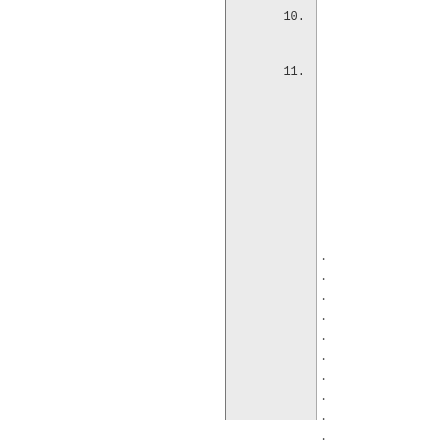10.
11.
.
.
.
.
.
.
.
.
.
.
.
12. }
□□□□ □□□□ □□□□